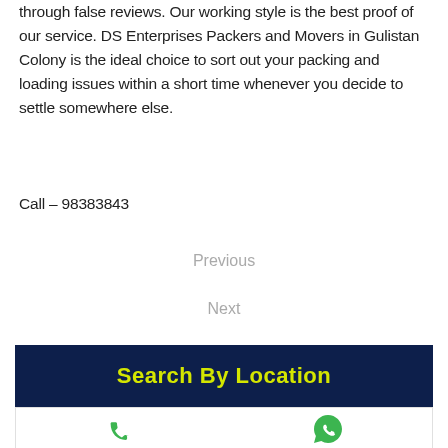through false reviews. Our working style is the best proof of our service. DS Enterprises Packers and Movers in Gulistan Colony is the ideal choice to sort out your packing and loading issues within a short time whenever you decide to settle somewhere else.
Call – 98383843
Previous
Next
Search By Location
[Figure (infographic): Phone and WhatsApp icons in a white bar below the Search By Location banner]